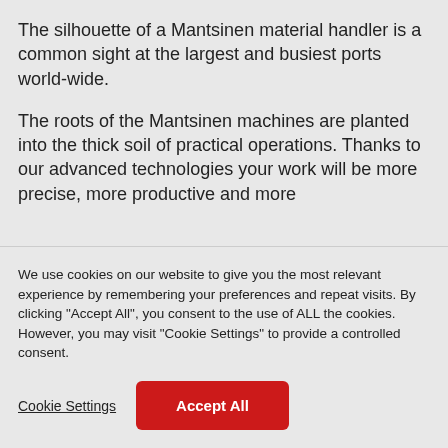The silhouette of a Mantsinen material handler is a common sight at the largest and busiest ports world-wide.
The roots of the Mantsinen machines are planted into the thick soil of practical operations. Thanks to our advanced technologies your work will be more precise, more productive and more
We use cookies on our website to give you the most relevant experience by remembering your preferences and repeat visits. By clicking "Accept All", you consent to the use of ALL the cookies. However, you may visit "Cookie Settings" to provide a controlled consent.
Cookie Settings
Accept All